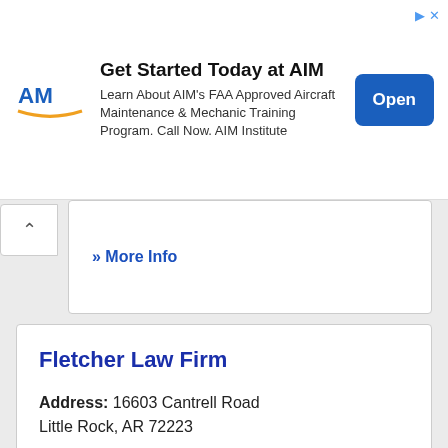[Figure (infographic): AIM Institute advertisement banner with logo, title 'Get Started Today at AIM', description text about FAA Approved Aircraft Maintenance & Mechanic Training Program, and an Open button.]
» More Info
Fletcher Law Firm
Address: 16603 Cantrell Road Little Rock, AR 72223
Phone: (501) 907-7600
» More Info
Fletcher Law Firm PA
Address: 1008 W 2nd Street